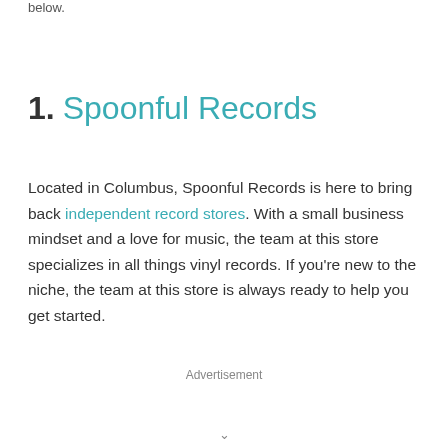below.
1. Spoonful Records
Located in Columbus, Spoonful Records is here to bring back independent record stores. With a small business mindset and a love for music, the team at this store specializes in all things vinyl records. If you're new to the niche, the team at this store is always ready to help you get started.
Advertisement